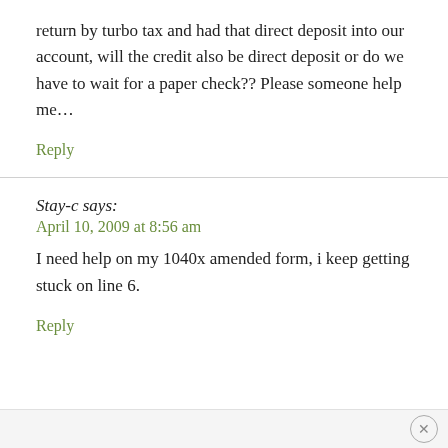return by turbo tax and had that direct deposit into our account, will the credit also be direct deposit or do we have to wait for a paper check?? Please someone help me…
Reply
Stay-c says:
April 10, 2009 at 8:56 am
I need help on my 1040x amended form, i keep getting stuck on line 6.
Reply